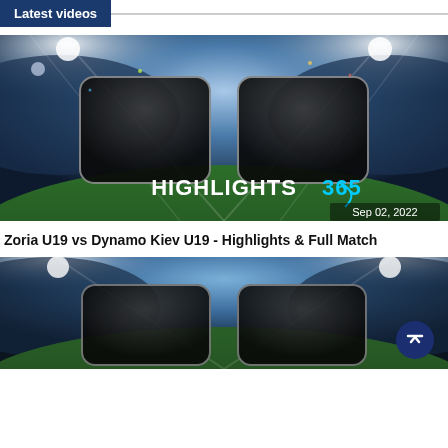Latest videos
[Figure (screenshot): Video thumbnail for Zoria U19 vs Dynamo Kiev U19 match highlights. Shows a football stadium at night with floodlights, two dark rounded rectangles side by side (score panels), 'HIGHLIGHTS 365' logo at bottom center, and date 'Sep 02, 2022' at bottom right.]
Zoria U19 vs Dynamo Kiev U19 - Highlights & Full Match
[Figure (screenshot): Second video thumbnail showing a football stadium at night with floodlights and two dark rounded rectangles side by side (score panels). Partially visible, cropped at bottom of page.]